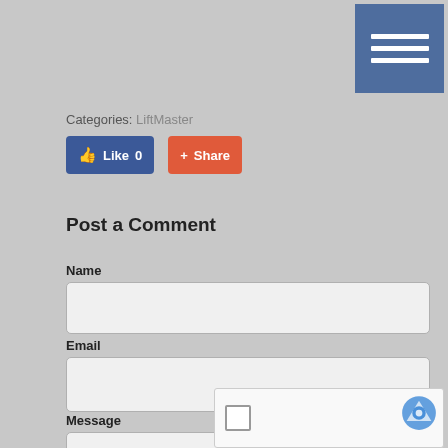[Figure (other): Dark blue square menu/hamburger button with three white horizontal lines]
Categories: LiftMaster
[Figure (other): Facebook Like button showing thumbs up icon and Like 0 text in blue, and a red Share button with plus icon]
Post a Comment
Name
Email
Message
[Figure (other): reCAPTCHA widget with checkbox on left and Google reCAPTCHA logo on right]